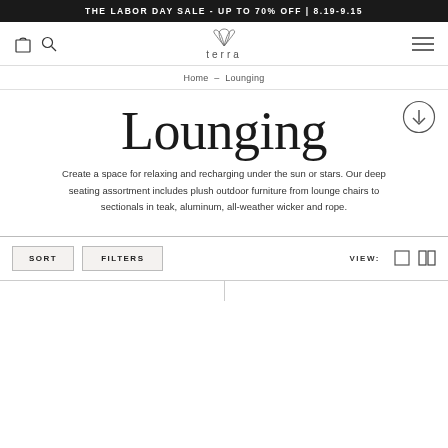THE LABOR DAY SALE - UP TO 70% OFF | 8.19-9.15
[Figure (logo): Terra brand logo with stylized grass/plant icon above the word 'terra' in spaced letters]
Home - Lounging
Lounging
Create a space for relaxing and recharging under the sun or stars. Our deep seating assortment includes plush outdoor furniture from lounge chairs to sectionals in teak, aluminum, all-weather wicker and rope.
SORT   FILTERS   VIEW: